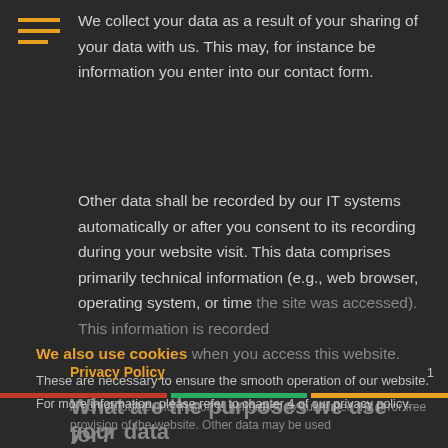We collect your data as a result of your sharing of your data with us. This may, for instance be information you enter into our contact form.
Other data shall be recorded by our IT systems automatically or after you consent to its recording during your website visit. This data comprises primarily technical information (e.g., web browser, operating system, or time the site was accessed). This information is recorded
We also use cookies when you access this website.
These are necessary to ensure the smooth operation of our website.
For more information, please refer to chapter 4 of our privacy policy.
What are the purposes we use your data for?
Privacy Policy
A portion of the information is generated to guarantee the error free provision of the website. Other data may be used